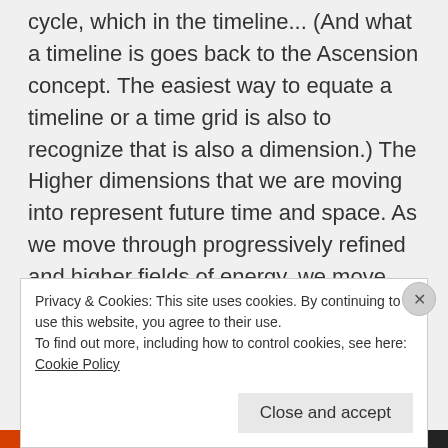cycle, which in the timeline... (And what a timeline is goes back to the Ascension concept. The easiest way to equate a timeline or a time grid is also to recognize that is also a dimension.) The Higher dimensions that we are moving into represent future time and space.  As we move through progressively refined and higher fields of energy, we move through each of the subharmonic frequency bands within each dimension.  So, as an example as we are moving through this Ascension
Privacy & Cookies: This site uses cookies. By continuing to use this website, you agree to their use.
To find out more, including how to control cookies, see here: Cookie Policy